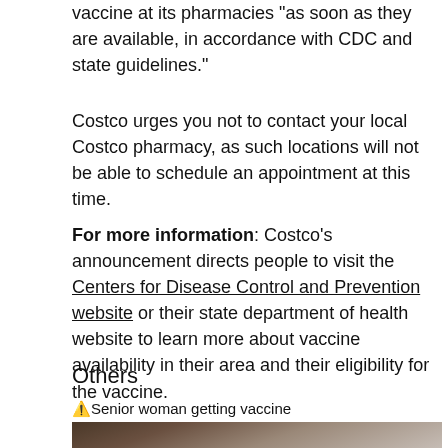vaccine at its pharmacies "as soon as they are available, in accordance with CDC and state guidelines."
Costco urges you not to contact your local Costco pharmacy, as such locations will not be able to schedule an appointment at this time.
For more information: Costco's announcement directs people to visit the Centers for Disease Control and Prevention website or their state department of health website to learn more about vaccine availability in their area and their eligibility for the vaccine.
Others
[Figure (photo): Senior woman getting vaccine — close-up photo of an elderly person receiving a vaccine injection]